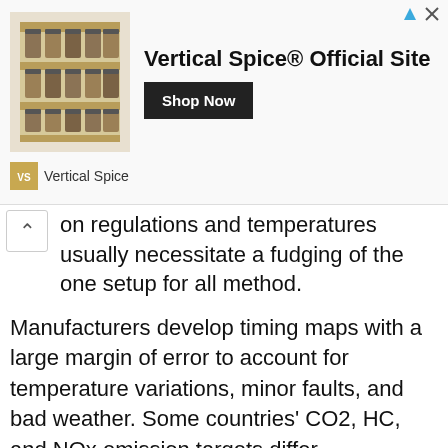[Figure (other): Advertisement banner for Vertical Spice Official Site with product image of spice rack, bold title text, Shop Now button, and Vertical Spice brand logo]
on regulations and temperatures usually necessitate a fudging of the one setup for all method.
Manufacturers develop timing maps with a large margin of error to account for temperature variations, minor faults, and bad weather. Some countries' CO2, HC, and NOx emission targets differ, necessitating a fudged approach.
Manufacturers do not want customers to be inconvenienced by mechanical failures or poor fuel economy, therefore they build in a large tolerance.
The fact that different countries utilize different gasoline grades and have varying degrees of adverse weather adds to the fudge that has to be done to keep all cars functioning well globally.
Depending on how effectively the components are